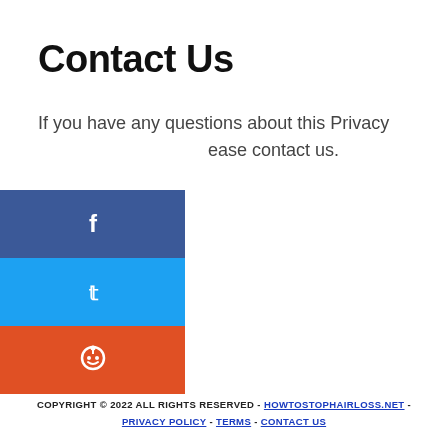Contact Us
If you have any questions about this Privacy please contact us.
[Figure (other): Facebook share button (blue)]
[Figure (other): Twitter share button (light blue)]
[Figure (other): Reddit share button (red-orange)]
COPYRIGHT © 2022 ALL RIGHTS RESERVED - HOWTOSTOPHAIRLOSS.NET - PRIVACY POLICY - TERMS - CONTACT US